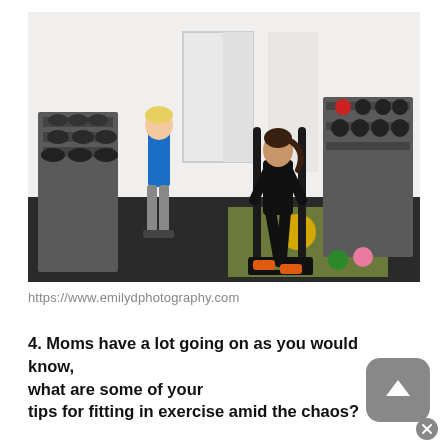[Figure (photo): Two women in a gym setting. One woman in black athletic wear is pushing a heavy sled apparatus on a green mat, leaning forward with effort. Another woman in a blue tank top and gray leggings stands in the background watching. The gym has racks of kettlebells and dumbbells visible.]
https://www.emilydphotography.com
4. Moms have a lot going on as you would know, what are some of your tips for fitting in exercise amid the chaos?